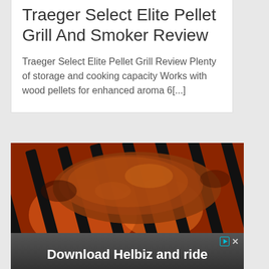Traeger Select Elite Pellet Grill And Smoker Review
Traeger Select Elite Pellet Grill Review Plenty of storage and cooking capacity Works with wood pellets for enhanced aroma 6[...]
[Figure (photo): Close-up photo of a large piece of meat (steak or brisket) cooking on grill grates with orange flame and heat visible underneath]
[Figure (photo): Advertisement banner for Helbiz scooter app showing a scooter on a city street with text 'Download Helbiz and ride']